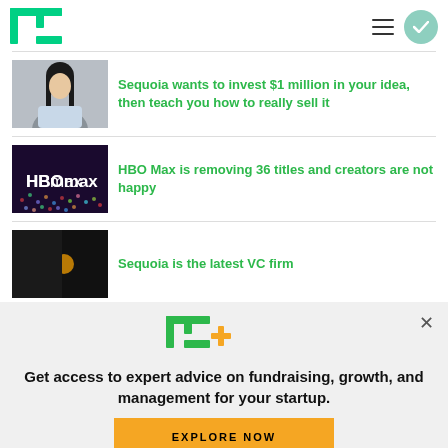TechCrunch
[Figure (illustration): Thumbnail of a person (woman with dark hair)]
Sequoia wants to invest $1 million in your idea, then teach you how to really sell it
[Figure (photo): Thumbnail of HBO Max logo sign with crowd in background]
HBO Max is removing 36 titles and creators are not happy
[Figure (photo): Dark thumbnail, Sequoia VC article image]
Sequoia is the latest VC firm
[Figure (logo): TC+ logo with green TC letters and orange plus sign]
Get access to expert advice on fundraising, growth, and management for your startup.
EXPLORE NOW